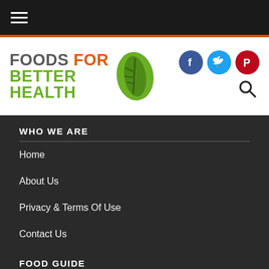Navigation menu (hamburger icon)
[Figure (logo): Foods For Better Health logo with green leaf icon]
[Figure (other): Social media icons: Facebook (blue), Twitter (cyan), Pinterest (red), and search icon]
WHO WE ARE
Home
About Us
Privacy & Terms Of Use
Contact Us
FOOD GUIDE
Food News
Food Facts